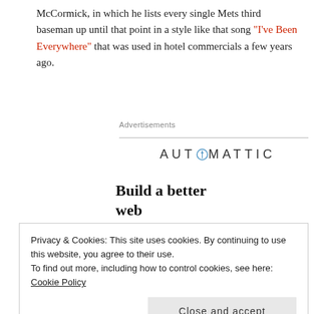McCormick, in which he lists every single Mets third baseman up until that point in a style like that song “I’ve Been Everywhere” that was used in hotel commercials a few years ago.
Advertisements
[Figure (logo): Automattic logo with compass icon replacing the O]
[Figure (infographic): Automattic ad: Build a better web and a better world. Apply button and photo of a man thinking.]
Privacy & Cookies: This site uses cookies. By continuing to use this website, you agree to their use.
To find out more, including how to control cookies, see here: Cookie Policy
Close and accept
the old version of “Meet the Mets.”  It’s peppy, it has that sort of “old